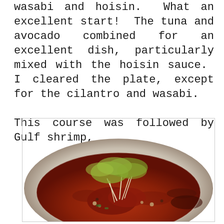wasabi and hoisin.  What an excellent start!  The tuna and avocado combined for an excellent dish, particularly mixed with the hoisin sauce.  I cleared the plate, except for the cilantro and wasabi.

This course was followed by Gulf shrimp,
[Figure (photo): A bowl of Gulf shrimp dish in a reddish-brown broth, garnished with bean sprouts, shredded green vegetables, and various other toppings, served in a light-colored ceramic bowl.]